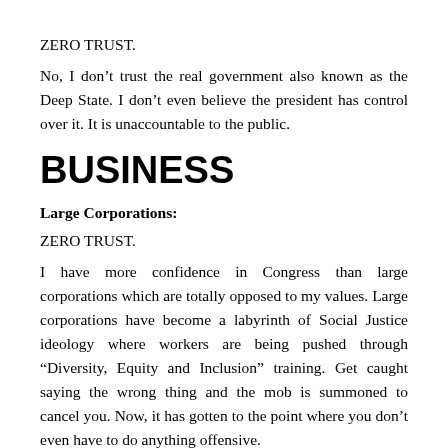ZERO TRUST.
No, I don’t trust the real government also known as the Deep State. I don’t even believe the president has control over it. It is unaccountable to the public.
BUSINESS
Large Corporations:
ZERO TRUST.
I have more confidence in Congress than large corporations which are totally opposed to my values. Large corporations have become a labyrinth of Social Justice ideology where workers are being pushed through “Diversity, Equity and Inclusion” training. Get caught saying the wrong thing and the mob is summoned to cancel you. Now, it has gotten to the point where you don’t even have to do anything offensive.